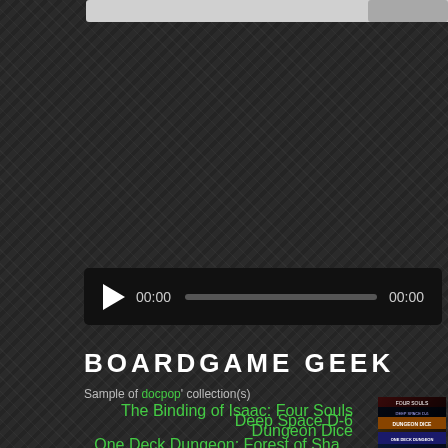[Figure (screenshot): Audio player control bar with play button, 00:00 timestamp, progress bar, and 00:00 end time]
BOARDGAME GEEK
Sample of docpop' collection(s)
The Binding of Isaac: Four Souls
[Figure (photo): The Binding of Isaac: Four Souls board game cover thumbnail]
Deep Space D-6
[Figure (photo): Deep Space D-6 board game cover thumbnail]
Dungeon Dice
[Figure (photo): Dungeon Dice board game cover thumbnail]
One Deck Dungeon (partial, cut off at bottom)